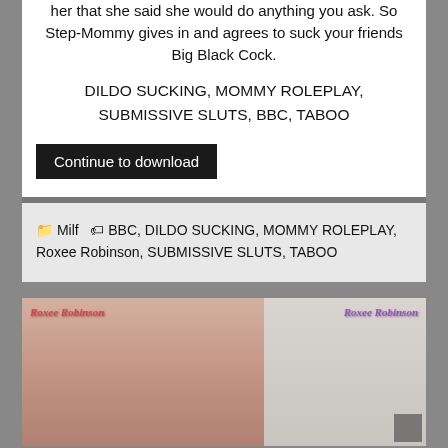her that she said she would do anything you ask. So Step-Mommy gives in and agrees to suck your friends Big Black Cock.
DILDO SUCKING, MOMMY ROLEPLAY, SUBMISSIVE SLUTS, BBC, TABOO
Continue to download
Milf  BBC, DILDO SUCKING, MOMMY ROLEPLAY, Roxee Robinson, SUBMISSIVE SLUTS, TABOO
[Figure (photo): Two side-by-side panels showing a woman with long brown hair. Both panels have 'Roxee Robinson' watermark text in stylized script — red on the left, purple on the right.]